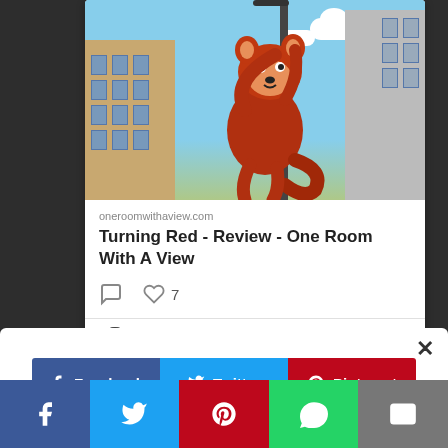[Figure (screenshot): Screenshot of a social media post card showing an animated red panda character from 'Turning Red' hanging on a street lamp with city buildings in background, with URL oneroomwithaview.com, title 'Turning Red - Review - One Room With A View', comment icon, heart icon with count 7, and author row partially visible. Below the card is a share modal with Facebook, Twitter, Pinterest buttons and partial WhatsApp/More buttons. A bottom navigation bar shows Facebook, Twitter, Pinterest, WhatsApp, and email share icons.]
oneroomwithaview.com
Turning Red - Review - One Room With A View
7
One Room With A
× Facebook Twitter Pinterest